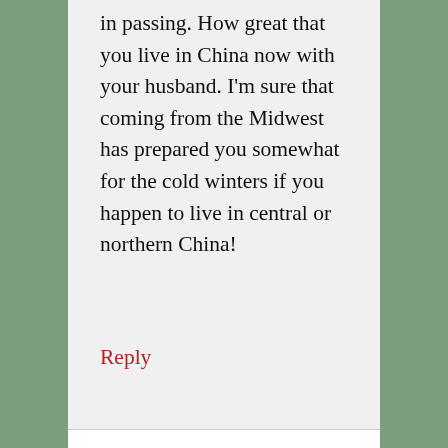in passing. How great that you live in China now with your husband. I'm sure that coming from the Midwest has prepared you somewhat for the cold winters if you happen to live in central or northern China!
Reply